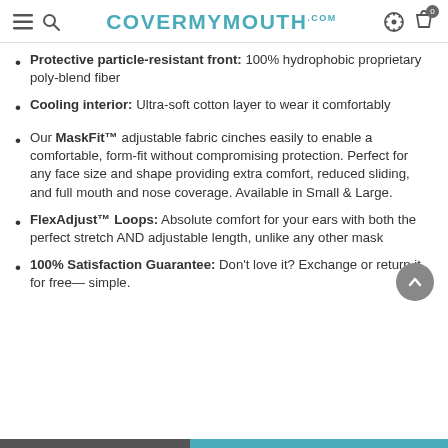COVERMYMOUTH.com
Protective particle-resistant front: 100% hydrophobic proprietary poly-blend fiber
Cooling interior: Ultra-soft cotton layer to wear it comfortably
Our MaskFit™ adjustable fabric cinches easily to enable a comfortable, form-fit without compromising protection. Perfect for any face size and shape providing extra comfort, reduced sliding, and full mouth and nose coverage. Available in Small & Large.
FlexAdjust™ Loops: Absolute comfort for your ears with both the perfect stretch AND adjustable length, unlike any other mask
100% Satisfaction Guarantee: Don't love it? Exchange or return it for free— simple.